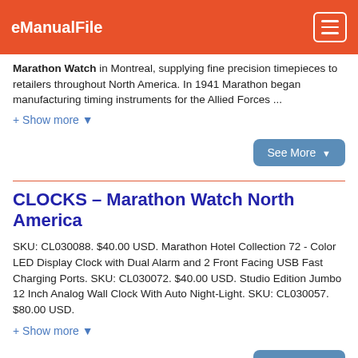eManualFile
Marathon Watch in Montreal, supplying fine precision timepieces to retailers throughout North America. In 1941 Marathon began manufacturing timing instruments for the Allied Forces ...
+ Show more ▾
See More ▾
CLOCKS – Marathon Watch North America
SKU: CL030088. $40.00 USD. Marathon Hotel Collection 72 - Color LED Display Clock with Dual Alarm and 2 Front Facing USB Fast Charging Ports. SKU: CL030072. $40.00 USD. Studio Edition Jumbo 12 Inch Analog Wall Clock With Auto Night-Light. SKU: CL030057. $80.00 USD.
+ Show more ▾
See More ▾